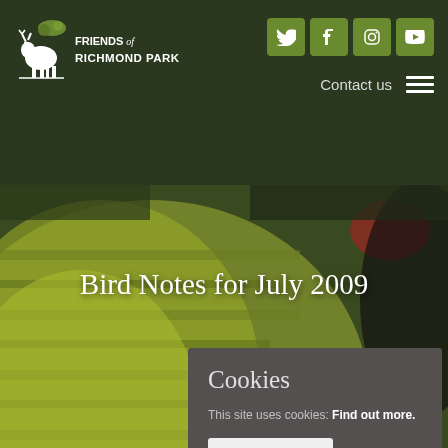Friends of Richmond Park
Bird Notes for July 2009
Cookies
This site uses cookies: Find out more.
Okay, thanks
Migration b
birdwatchers in June turned to that of the